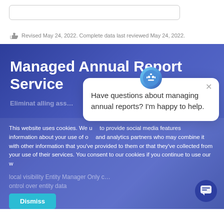Revised May 24, 2022. Complete data last reviewed May 24, 2022.
Managed Annual Report Service
Have questions about managing annual reports? I'm happy to help.
This website uses cookies. We use cookies to provide social media features and information about your use of our site and analytics partners who may combine it with other information that you've provided to them or that they've collected from your use of their services. You consent to our cookies if you continue to use our w
Dismiss